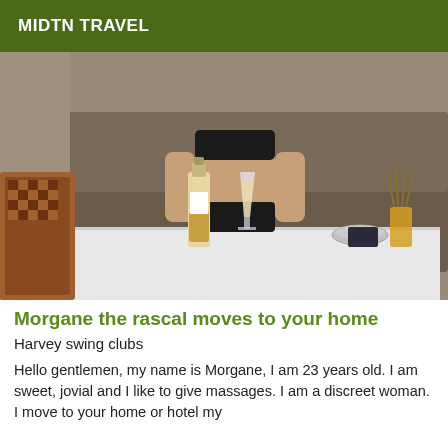MIDTN TRAVEL
[Figure (photo): A woman in black bikini sitting on a sofa behind a white table with a wine bottle, champagne glass, bowl, and reed diffuser. A checkered handbag is visible on the left.]
Morgane the rascal moves to your home
Harvey swing clubs
Hello gentlemen, my name is Morgane, I am 23 years old. I am sweet, jovial and I like to give massages. I am a discreet woman. I move to your home or hotel my